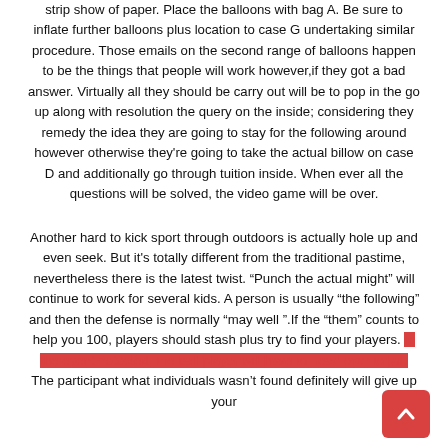strip show of paper. Place the balloons with bag A. Be sure to inflate further balloons plus location to case G undertaking similar procedure. Those emails on the second range of balloons happen to be the things that people will work however,if they got a bad answer. Virtually all they should be carry out will be to pop in the go up along with resolution the query on the inside; considering they remedy the idea they are going to stay for the following around however otherwise they're going to take the actual billow on case D and additionally go through tuition inside. When ever all the questions will be solved, the video game will be over.
Another hard to kick sport through outdoors is actually hole up and even seek. But it's totally different from the traditional pastime, nevertheless there is the latest twist. “Punch the actual might” will continue to work for several kids. A person is usually “the following” and then the defense is normally “may well ”.If the “them” counts to help you 100, players should stash plus try to find your players. In the event detected, the ball player will have to head over to jail. The participant what individuals wasn’t found definitely will give up your